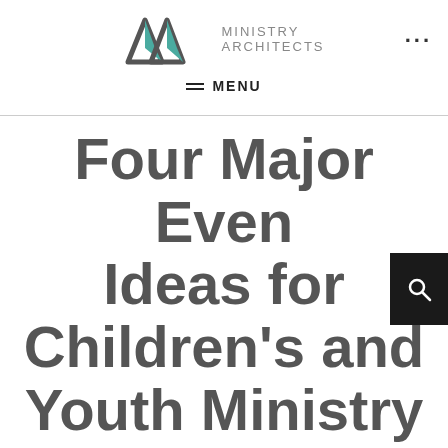MINISTRY ARCHITECTS — MENU
Four Major Event Ideas for Children's and Youth Ministry